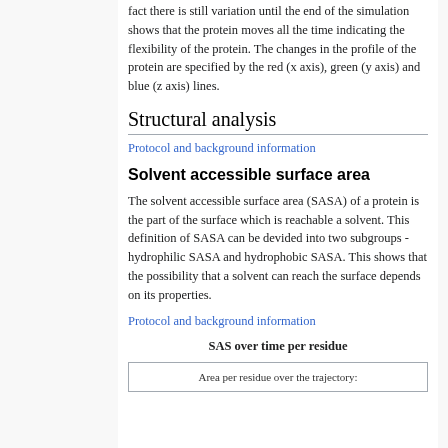fact there is still variation until the end of the simulation shows that the protein moves all the time indicating the flexibility of the protein. The changes in the profile of the protein are specified by the red (x axis), green (y axis) and blue (z axis) lines.
Structural analysis
Protocol and background information
Solvent accessible surface area
The solvent accessible surface area (SASA) of a protein is the part of the surface which is reachable a solvent. This definition of SASA can be devided into two subgroups - hydrophilic SASA and hydrophobic SASA. This shows that the possibility that a solvent can reach the surface depends on its properties.
Protocol and background information
SAS over time per residue
[Figure (other): Area per residue over the trajectory - partial view at bottom of page]